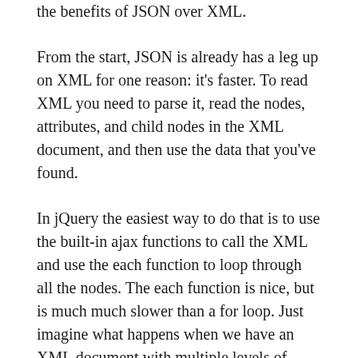the benefits of JSON over XML.
From the start, JSON is already has a leg up on XML for one reason: it’s faster. To read XML you need to parse it, read the nodes, attributes, and child nodes in the XML document, and then use the data that you’ve found.
In jQuery the easiest way to do that is to use the built-in ajax functions to call the XML and use the each function to loop through all the nodes. The each function is nice, but is much much slower than a for loop. Just imagine what happens when we have an XML document with multiple levels of nested nodes you need to get at. You end up with multiple nested $.each